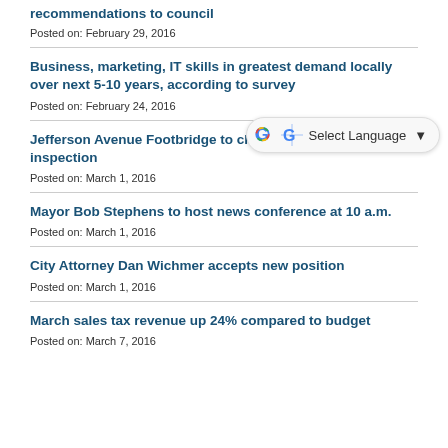recommendations to council
Posted on: February 29, 2016
Business, marketing, IT skills in greatest demand locally over next 5-10 years, according to survey
Posted on: February 24, 2016
Jefferson Avenue Footbridge to close beginning March 1 for inspection
Posted on: March 1, 2016
Mayor Bob Stephens to host news conference at 10 a.m.
Posted on: March 1, 2016
City Attorney Dan Wichmer accepts new position
Posted on: March 1, 2016
March sales tax revenue up 24% compared to budget
Posted on: March 7, 2016